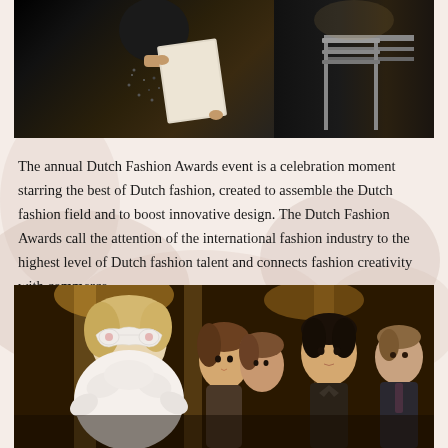[Figure (photo): A person in a dark beaded/sequined outfit holding a white card or envelope, standing at or near a podium/lectern with metal bars visible on the right side, against a dark background — an awards ceremony stage scene.]
The annual Dutch Fashion Awards event is a celebration moment starring the best of Dutch fashion, created to assemble the Dutch fashion field and to boost innovative design. The Dutch Fashion Awards call the attention of the international fashion industry to the highest level of Dutch fashion talent and connects fashion creativity with commerce.
[Figure (photo): A group of people at what appears to be a formal event or gala. A woman on the left is wearing a decorative white masquerade mask and a white feathered or fluffy outfit. Other attendees — a woman with brown hair, a young man, and an older man in a suit — are visible behind her.]